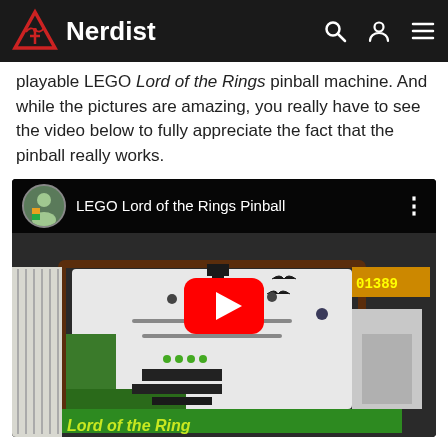Nerdist
playable LEGO Lord of the Rings pinball machine. And while the pictures are amazing, you really have to see the video below to fully appreciate the fact that the pinball really works.
[Figure (screenshot): YouTube video embed showing LEGO Lord of the Rings Pinball machine. The video thumbnail shows a detailed LEGO pinball machine with Lord of the Rings theming including Mordor structures, green text, and a red YouTube play button overlay. The video title bar shows 'LEGO Lord of the Rings Pinball' with a channel avatar.]